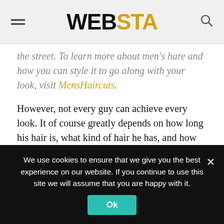WEBSTA
the street. To learn more about men's hare and how you can style it to go along with your look, visit MensHaircuts.
However, not every guy can achieve every look. It of course greatly depends on how long his hair is, what kind of hair he has, and how much work he is willing to put into his hair before he leaves the house in the morning. Here in the article, we will try to determine what the most popular men's hairstyles are in the year 2022.
We use cookies to ensure that we give you the best experience on our website. If you continue to use this site we will assume that you are happy with it.